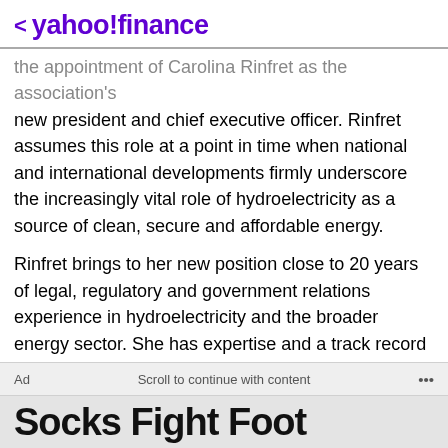< yahoo!finance
the appointment of Carolina Rinfret as the association's new president and chief executive officer. Rinfret assumes this role at a point in time when national and international developments firmly underscore the increasingly vital role of hydroelectricity as a source of clean, secure and affordable energy.
Rinfret brings to her new position close to 20 years of legal, regulatory and government relations experience in hydroelectricity and the broader energy sector. She has expertise and a track record of achievement that equip her well to lead the association, during what will be a period of ongoing growth to enable the energy system transformation.
Ad   Scroll to continue with content   ...
Socks Fight Foot